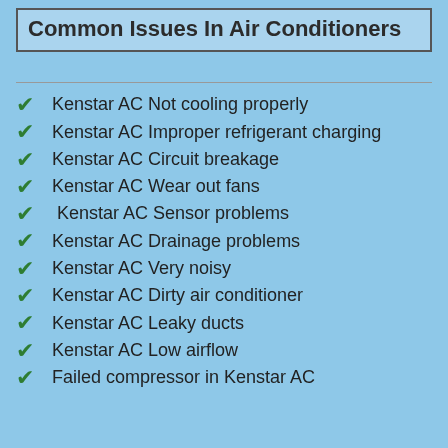Common Issues In Air Conditioners
Kenstar AC Not cooling properly
Kenstar AC Improper refrigerant charging
Kenstar AC Circuit breakage
Kenstar AC Wear out fans
Kenstar AC Sensor problems
Kenstar AC Drainage problems
Kenstar AC Very noisy
Kenstar AC Dirty air conditioner
Kenstar AC Leaky ducts
Kenstar AC Low airflow
Failed compressor in Kenstar AC